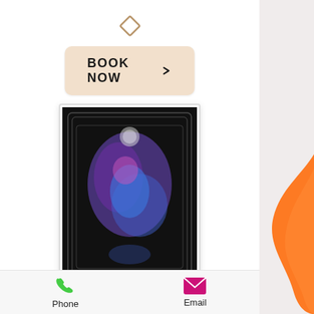[Figure (illustration): Diamond/rhombus decorative icon above the Book Now button]
[Figure (other): Book Now button with arrow, beige/cream rounded rectangle]
[Figure (photo): Blurred tarot card image with dark background and purple/blue mystical imagery]
Resolve Psychological Services, 1501 Lee Highway Suite 130 Arlington, VA 22209, (773) 492-6813
[Figure (illustration): Green phone icon above the word Phone]
Phone
[Figure (illustration): Magenta/pink envelope email icon above the word Email]
Email
[Figure (illustration): Orange decorative swoosh/ribbon on right side of page]